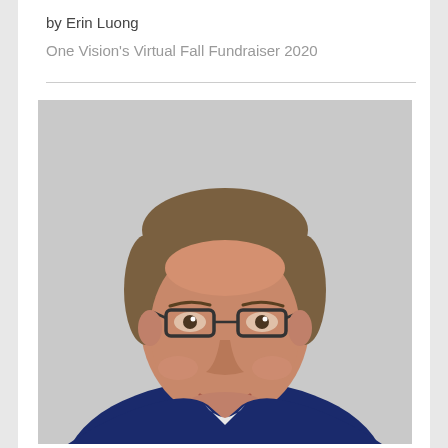by Erin Luong
One Vision's Virtual Fall Fundraiser 2020
[Figure (photo): Professional headshot of a middle-aged man with brown hair, wearing glasses, smiling, dressed in a navy blue blazer and white dress shirt, against a light grey background.]